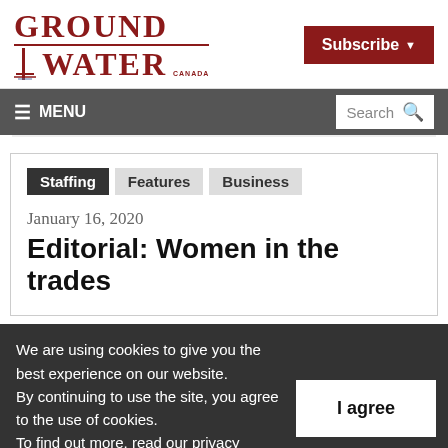[Figure (logo): Ground Water Canada logo in dark red serif font with horizontal rule between GROUND and WATER]
Subscribe ▾
≡ MENU    Search 🔍
Staffing  Features  Business
January 16, 2020
Editorial: Women in the trades
We are using cookies to give you the best experience on our website.
By continuing to use the site, you agree to the use of cookies.
To find out more, read our privacy policy.
I agree